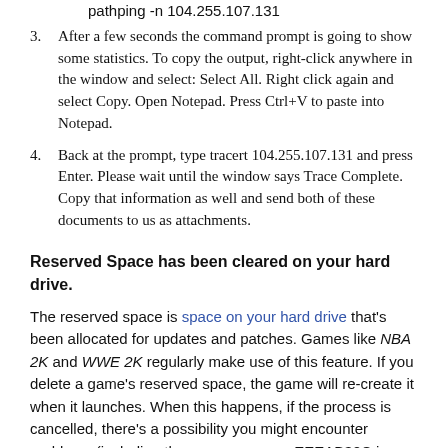pathping -n 104.255.107.131
3. After a few seconds the command prompt is going to show some statistics. To copy the output, right-click anywhere in the window and select: Select All. Right click again and select Copy. Open Notepad. Press Ctrl+V to paste into Notepad.
4. Back at the prompt, type tracert 104.255.107.131 and press Enter. Please wait until the window says Trace Complete. Copy that information as well and send both of these documents to us as attachments.
Reserved Space has been cleared on your hard drive.
The reserved space is space on your hard drive that's been allocated for updates and patches. Games like NBA 2K and WWE 2K regularly make use of this feature. If you delete a game's reserved space, the game will re-create it when it launches. When this happens, if the process is cancelled, there's a possibility you might encounter problems (including the error message: EEEAB30C in NBA 2K21)